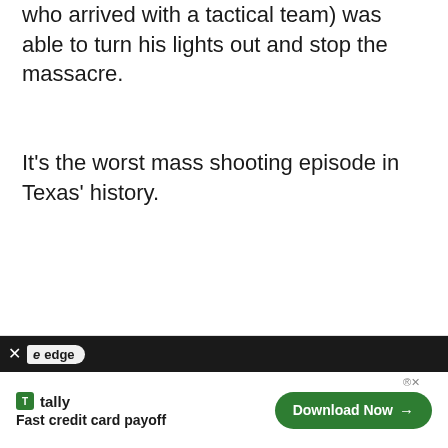who arrived with a tactical team) was able to turn his lights out and stop the massacre.
It's the worst mass shooting episode in Texas' history.
[Figure (screenshot): Advertisement banner at the bottom of the page. Shows Microsoft Edge browser branding with a Tally app ad. Contains 'X edge' in a dark topbar, and below: a green Tally icon, 'tally' label, 'Fast credit card payoff' tagline, and a green 'Download Now →' button. Small '®x' close icon in top right of ad content area.]